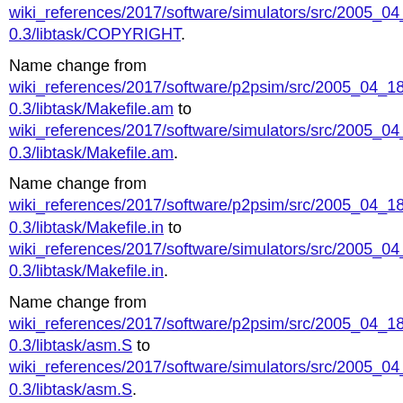wiki_references/2017/software/simulators/src/2005_04_18_s 0.3/libtask/COPYRIGHT.
Name change from wiki_references/2017/software/p2psim/src/2005_04_18_src/p 0.3/libtask/Makefile.am to wiki_references/2017/software/simulators/src/2005_04_18_s 0.3/libtask/Makefile.am.
Name change from wiki_references/2017/software/p2psim/src/2005_04_18_src/p 0.3/libtask/Makefile.in to wiki_references/2017/software/simulators/src/2005_04_18_s 0.3/libtask/Makefile.in.
Name change from wiki_references/2017/software/p2psim/src/2005_04_18_src/p 0.3/libtask/asm.S to wiki_references/2017/software/simulators/src/2005_04_18_s 0.3/libtask/asm.S.
Name change from wiki_references/2017/software/p2psim/src/2005_04_18_src/p 0.3/libtask/channel.c to wiki_references/2017/software/simulators/src/2005_04_18_s 0.3/libtask/channel.c